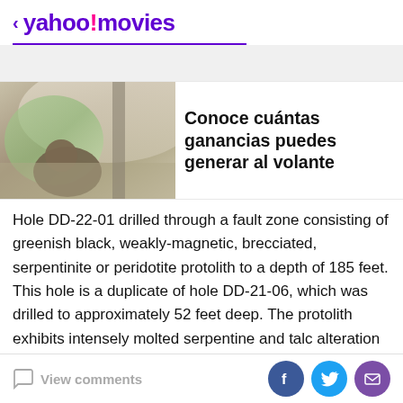< yahoo!movies
[Figure (photo): Person looking out of a car window from inside the vehicle, with car interior ceiling visible]
Conoce cuántas ganancias puedes generar al volante
Hole DD-22-01 drilled through a fault zone consisting of greenish black, weakly-magnetic, brecciated, serpentinite or peridotite protolith to a depth of 185 feet. This hole is a duplicate of hole DD-21-06, which was drilled to approximately 52 feet deep. The protolith exhibits intensely molted serpentine and talc alteration along fractures. A 22-foot-thick swarm of white
View comments